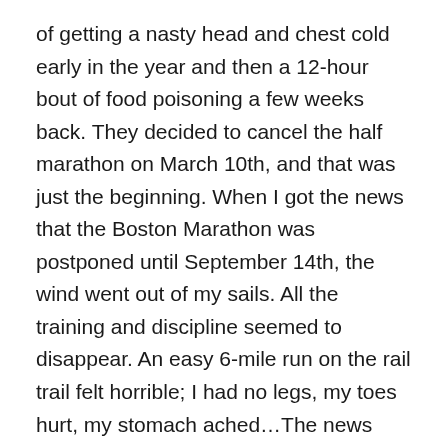of getting a nasty head and chest cold early in the year and then a 12-hour bout of food poisoning a few weeks back. They decided to cancel the half marathon on March 10th, and that was just the beginning. When I got the news that the Boston Marathon was postponed until September 14th, the wind went out of my sails. All the training and discipline seemed to disappear. An easy 6-mile run on the rail trail felt horrible; I had no legs, my toes hurt, my stomach ached…The news had just knocked me flat.

Over the winter, it took focus and fortitude to maintain training in the face of a demanding new job and commuting to Boston from New Hampshire, but the tangential structure the training schedule gave me ended up being a gift. It's one of the things I love about the discipline of running. Having a running project occupies a